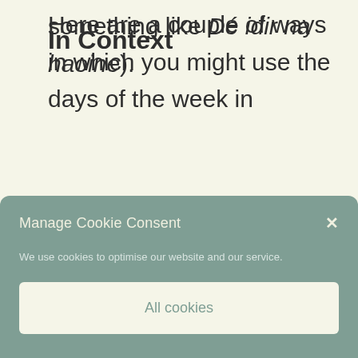something like Dé idir na haoine).
In Context
Here are a couple of ways in which you might use the days of the week in
[Figure (screenshot): Cookie consent modal overlay with teal/sage green background. Title 'Manage Cookie Consent' with close X button. Text 'We use cookies to optimise our website and our service.' Two buttons: 'All cookies' (light background) and 'Deny' (text only).]